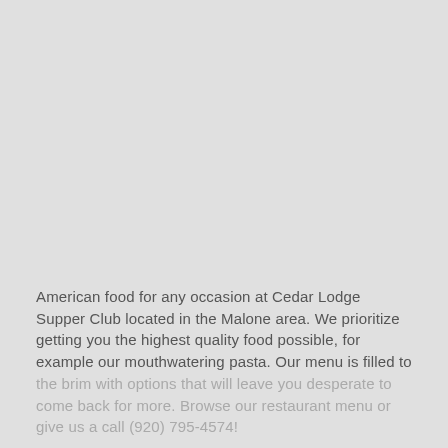American food for any occasion at Cedar Lodge Supper Club located in the Malone area. We prioritize getting you the highest quality food possible, for example our mouthwatering pasta. Our menu is filled to the brim with options that will leave you desperate to come back for more. Browse our restaurant menu or give us a call (920) 795-4574!